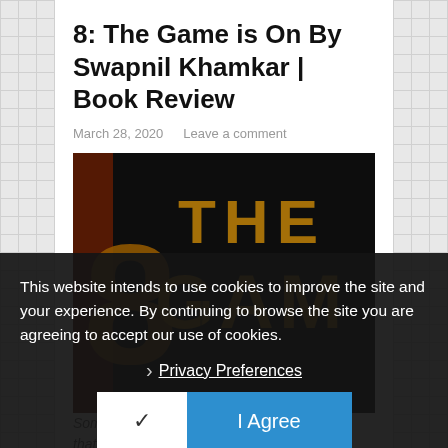8: The Game is On By Swapnil Khamkar | Book Review
March 28, 2020   Leave a comment
[Figure (photo): Book cover of 'The Game is On' showing large golden letters reading 'THE GAME' on a dark/black background]
This website intends to use cookies to improve the site and your experience. By continuing to browse the site you are agreeing to accept our use of cookies.
Privacy Preferences
I Agree
Sometimes your book library becomes so big that there are "to be read" books that despite your genuine intention to